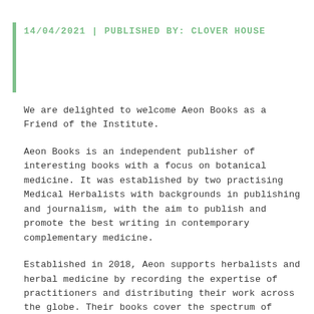14/04/2021 | PUBLISHED BY: CLOVER HOUSE
We are delighted to welcome Aeon Books as a Friend of the Institute.
Aeon Books is an independent publisher of interesting books with a focus on botanical medicine. It was established by two practising Medical Herbalists with backgrounds in publishing and journalism, with the aim to publish and promote the best writing in contemporary complementary medicine.
Established in 2018, Aeon supports herbalists and herbal medicine by recording the expertise of practitioners and distributing their work across the globe. Their books cover the spectrum of practice, from foraging and medicine making to foundational texts and technical guides on